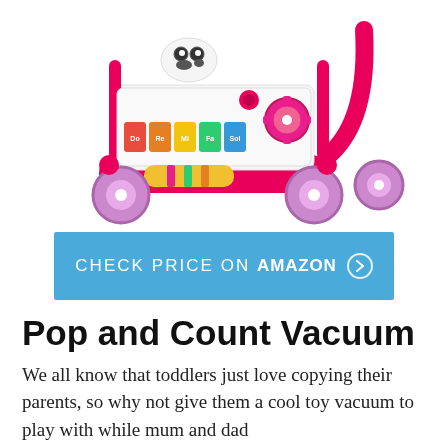[Figure (photo): Pink and white VTech baby walker toy with colorful piano keys, activity panel, spinning gears, and purple wheels on a white background]
CHECK PRICE ON AMAZON ›
Pop and Count Vacuum
We all know that toddlers just love copying their parents, so why not give them a cool toy vacuum to play with while mum and dad